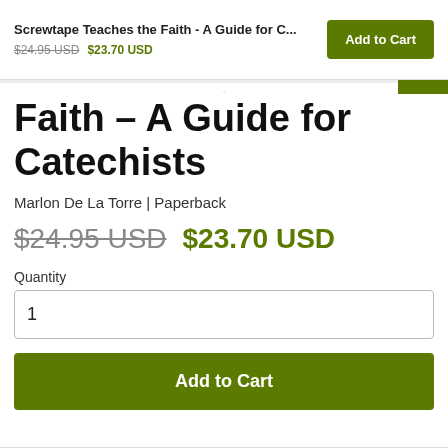Screwtape Teaches the Faith - A Guide for C... $24.95 USD $23.70 USD
Faith - A Guide for Catechists
Marlon De La Torre | Paperback
$24.95 USD  $23.70 USD
Quantity
1
Add to Cart